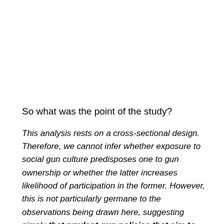So what was the point of the study?
This analysis rests on a cross-sectional design. Therefore, we cannot infer whether exposure to social gun culture predisposes one to gun ownership or whether the latter increases likelihood of participation in the former. However, this is not particularly germane to the observations being drawn here, suggesting simply that prudent gun policies that aim to reduce gun ownership and gun-related injury might